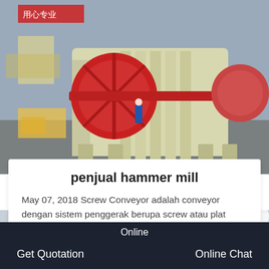[Figure (photo): Industrial hammer mill machine in a warehouse/factory setting, cream/beige colored with red wheel and shaft, with workers and vehicles visible in the background on a concrete floor.]
penjual hammer mill
May 07, 2018 Screw Conveyor adalah conveyor dengan sistem penggerak berupa screw atau plat spiral.Screw
[Figure (photo): Exterior view of an industrial building or factory compound, with bare trees in winter, covered structures, and a multi-story building with large windows in the background.]
Online
Get Quotation
Online Chat